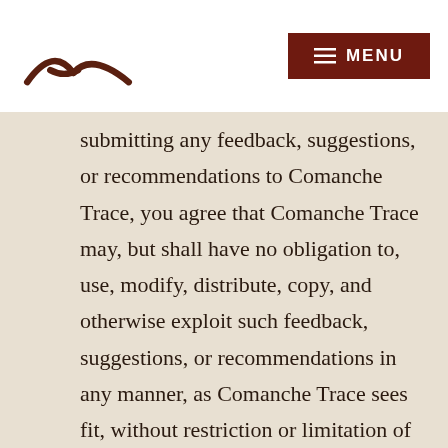[Figure (logo): Comanche Trace logo — brown arch/sunrise symbol]
MENU
submitting any feedback, suggestions, or recommendations to Comanche Trace, you agree that Comanche Trace may, but shall have no obligation to, use, modify, distribute, copy, and otherwise exploit such feedback, suggestions, or recommendations in any manner, as Comanche Trace sees fit, without restriction or limitation of any kind, and you thereby grant to Comanche Trace a paid-in-full, royalty-free, freely and fully transferable, freely and fully assignable,